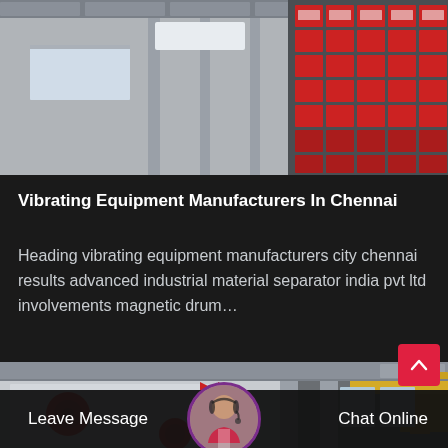[Figure (photo): Industrial factory interior showing overhead cranes, red industrial equipment/separators mounted on walls, and factory ceiling structure. Gray and red machinery visible.]
Vibrating Equipment Manufacturers In Chennai
Heading vibrating equipment manufacturers city chennai results advanced industrial material separator india pvt ltd involvements magnetic drum…
[Figure (photo): Industrial factory interior showing yellow overhead crane beam, red and white industrial machinery/separators, factory ceiling with structural elements.]
Leave Message   Chat Online